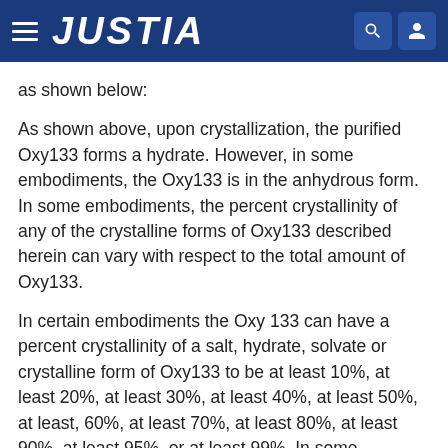JUSTIA
as shown below:
As shown above, upon crystallization, the purified Oxy133 forms a hydrate. However, in some embodiments, the Oxy133 is in the anhydrous form. In some embodiments, the percent crystallinity of any of the crystalline forms of Oxy133 described herein can vary with respect to the total amount of Oxy133.
In certain embodiments the Oxy 133 can have a percent crystallinity of a salt, hydrate, solvate or crystalline form of Oxy133 to be at least 10%, at least 20%, at least 30%, at least 40%, at least 50%, at least, 60%, at least 70%, at least 80%, at least 90%, at least 95%, or at least 99%. In some embodiments, the percent crystallinity can be substantially 100%, where substantially 100% indicates that the entire amount of Oxy133 appears to be crystalline as best can be determined using methods